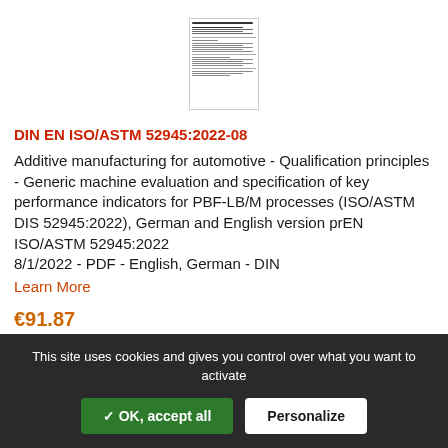[Figure (screenshot): Small thumbnail preview of a document page showing text lines and a table structure]
DIN EN ISO/ASTM 52945:2022-08
Additive manufacturing for automotive - Qualification principles - Generic machine evaluation and specification of key performance indicators for PBF-LB/M processes (ISO/ASTM DIS 52945:2022), German and English version prEN ISO/ASTM 52945:2022
8/1/2022 - PDF - English, German - DIN
Learn More
€91.87
This site uses cookies and gives you control over what you want to activate
✓ OK, accept all
Personalize